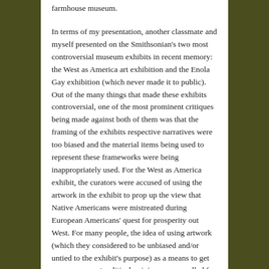farmhouse museum.

In terms of my presentation, another classmate and myself presented on the Smithsonian's two most controversial museum exhibits in recent memory: the West as America art exhibition and the Enola Gay exhibition (which never made it to public). Out of the many things that made these exhibits controversial, one of the most prominent critiques being made against both of them was that the framing of the exhibits respective narratives were too biased and the material items being used to represent these frameworks were being inappropriately used. For the West as America exhibit, the curators were accused of using the artwork in the exhibit to prop up the view that Native Americans were mistreated during European Americans' quest for prosperity out West. For many people, the idea of using artwork (which they considered to be unbiased and/or untied to the exhibit's purpose) as a means to get across a current political opinion, was uncalled for and anachronistic. Putting aside the fact that it is problematic to ask exhibits to remain unbiased in integrity, if in order to achieve findability